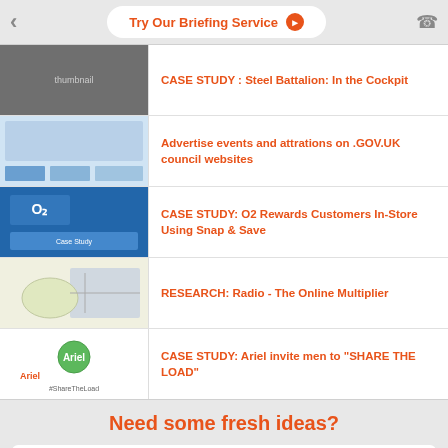Try Our Briefing Service
CASE STUDY : Steel Battalion: In the Cockpit
Advertise events and attrations on .GOV.UK council websites
CASE STUDY: O2 Rewards Customers In-Store Using Snap & Save
RESEARCH: Radio - The Online Multiplier
CASE STUDY: Ariel invite men to "SHARE THE LOAD"
Need some fresh ideas?
Try our Briefing Service
Get In Touch